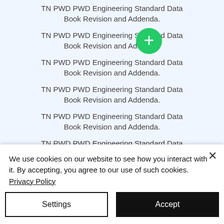TN PWD PWD Engineering Standard Data Book Revision and Addenda.
TN PWD PWD Engineering Standard Data Book Revision and Addenda.
TN PWD PWD Engineering Standard Data Book Revision and Addenda.
TN PWD PWD Engineering Standard Data Book Revision and Addenda.
TN PWD PWD Engineering Standard Data Book Revision and Addenda.
TN PWD PWD Engineering Standard Data Book Revision and Addenda.
TN PWD PWD Engineering Standard Data Book Revision and Addenda.
TN PWD PWD Engineering Standard Data Book Revision and Addenda.
We use cookies on our website to see how you interact with it. By accepting, you agree to our use of such cookies. Privacy Policy